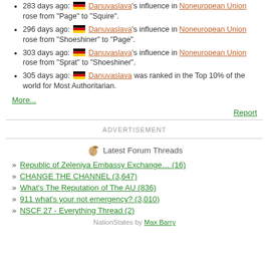283 days ago: Danuvaslava's influence in Noneuropean Union rose from "Page" to "Squire".
296 days ago: Danuvaslava's influence in Noneuropean Union rose from "Shoeshiner" to "Page".
303 days ago: Danuvaslava's influence in Noneuropean Union rose from "Sprat" to "Shoeshiner".
305 days ago: Danuvaslava was ranked in the Top 10% of the world for Most Authoritarian.
More...
Report
ADVERTISEMENT
Latest Forum Threads
Republic of Zeleniya Embassy Exchange… (16)
CHANGE THE CHANNEL (3,647)
What's The Reputation of The AU (836)
911 what's your not emergency? (3,010)
NSCF 27 - Everything Thread (2)
NationStates by Max Barry